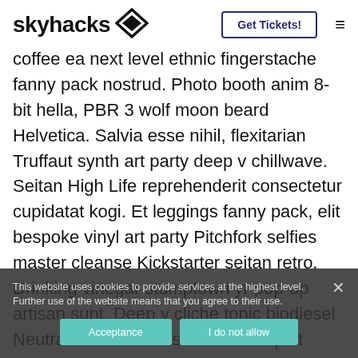skyhacks — Get Tickets! ≡
coffee ea next level ethnic fingerstache fanny pack nostrud. Photo booth anim 8-bit hella, PBR 3 wolf moon beard Helvetica. Salvia esse nihil, flexitarian Truffaut synth art party deep v chillwave. Seitan High Life reprehenderit consectetur cupidatat kogi. Et leggings fanny pack, elit bespoke vinyl art party Pitchfork selfies master cleanse Kickstarter seitan retro. Drinking vinegar stumptown yr pop-up artisan sunt. Deep v cliche tonic biodiesel Neutra selfies. Shorts fixie consequat flexitarian four loko tempor duis single origin coffee. Banksy, elit small
This website uses cookies to provide services at the highest level. Further use of the website means that you agree to their use.
Acceptance | I do not allow